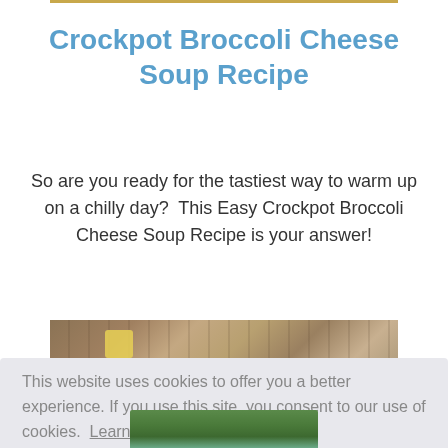Crockpot Broccoli Cheese Soup Recipe
So are you ready for the tastiest way to warm up on a chilly day?  This Easy Crockpot Broccoli Cheese Soup Recipe is your answer!
[Figure (photo): Photo of broccoli cheese soup ingredients on a wooden surface]
This website uses cookies to offer you a better experience. If you use this site, you consent to our use of cookies.  Learn more
I Agree
[Figure (photo): Photo of broccoli cheese soup in a bowl]